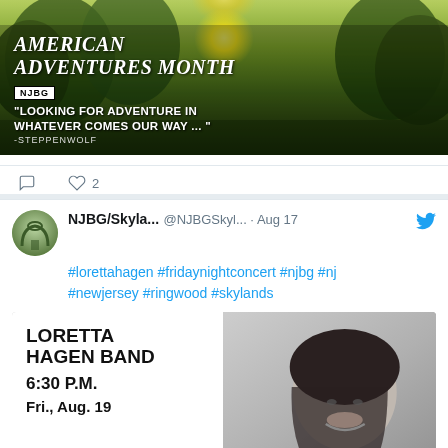[Figure (photo): Outdoor park scene with sunlight through trees, overlaid with text: AMERICAN ADVENTURES MONTH, NJBG logo, quote 'LOOKING FOR ADVENTURE IN WHATEVER COMES OUR WAY ...' - STEPPENWOLF]
2 (likes)
NJBG/Skyla... @NJBGSkyl... · Aug 17
#lorettahagen #fridaynightconcert #njbg #nj #newjersey #ringwood #skylands
[Figure (photo): Black and white promotional photo for Loretta Hagen Band, showing text: LORETTA HAGEN BAND, 6:30 P.M., Fri., Aug. 19, alongside a portrait of a smiling woman with dark hair]